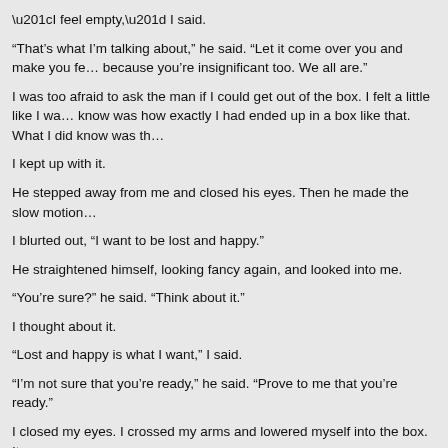“I feel empty,” I said.
“That’s what I’m talking about,” he said. “Let it come over you and make you fe… because you’re insignificant too. We all are.”
I was too afraid to ask the man if I could get out of the box. I felt a little like I wa… know was how exactly I had ended up in a box like that. What I did know was th…
I kept up with it.
He stepped away from me and closed his eyes. Then he made the slow motion…
I blurted out, “I want to be lost and happy.”
He straightened himself, looking fancy again, and looked into me.
“You’re sure?” he said. “Think about it.”
I thought about it.
“Lost and happy is what I want,” I said.
“I’m not sure that you’re ready,” he said. “Prove to me that you’re ready.”
I closed my eyes. I crossed my arms and lowered myself into the box. It was no…
My offering. I lowered myself until I was half-sitting in that box and waited for hi…
“Very well,” he said. “Come on, then.”
He didn’t tell me that we were going to the lake. But that’s where we ended up.… from our street. He didn’t talk the whole walk over about where we were going.… was going someplace special.